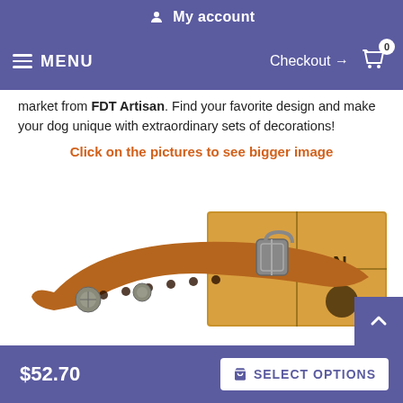My account
MENU | Checkout → 0
market from FDT Artisan. Find your favorite design and make your dog unique with extraordinary sets of decorations!
Click on the pictures to see bigger image
[Figure (photo): Brown leather dog collar with metal studs and decorative conchos, shown with an Artisan branded cardboard box]
$52.70   SELECT OPTIONS